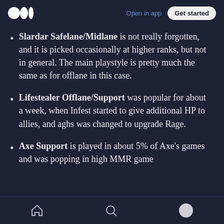Open in app | Get started
Slardar Safelane/Midlane is not really forgotten, and it is picked occasionally at higher ranks, but not in general. The main playstyle is pretty much the same as for offlane in this case.
Lifestealer Offlane/Support was popular for about a week, when Infest started to give additional HP to allies, and aghs was changed to upgrade Rage.
Axe Support is played in about 5% of Axe's games and was popping in high MMR game
Home | Search | Profile